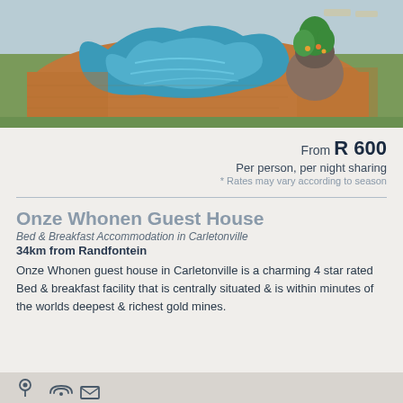[Figure (photo): Aerial view of a kidney-shaped swimming pool with blue water, surrounded by terracotta-colored paved area, green grass, and a large potted plant/tree. Outdoor furniture visible in background.]
From R 600
Per person, per night sharing
* Rates may vary according to season
Onze Whonen Guest House
Bed & Breakfast Accommodation in Carletonville
34km from Randfontein
Onze Whonen guest house in Carletonville is a charming 4 star rated Bed & breakfast facility that is centrally situated & is within minutes of the worlds deepest & richest gold mines.
[Figure (infographic): Footer bar with icons: location pin, wifi/signal icon, envelope/email icon]